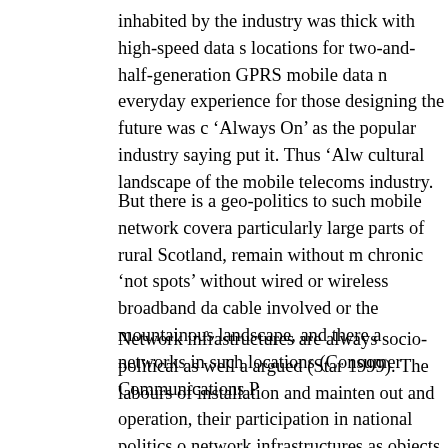inhabited by the industry was thick with high-speed data s locations for two-and-half-generation GPRS mobile data n everyday experience for those designing the future was c 'Always On' as the popular industry saying put it. Thus 'Alw cultural landscape of the mobile telecoms industry.
But there is a geo-politics to such mobile network covera particularly large parts of rural Scotland, remain without m chronic 'not spots' without wired or wireless broadband da cable involved or the mountainous landscape, and there a networks in such locations (Consumer Communications P
Network infrastructures are always socio-political as well a argued (Star 1999). The labours of installation and mainten out and operation, their participation in national politics o network infrastructures as objects (Langtry 1998; Crow, Lo